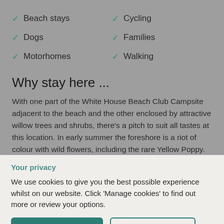Beach stays
Cycling
Dogs
Families
Motorhomes
Walking
Why stay here ...
With one part of the White House Beach Club Campsite adjacent to the beach and the other enclosed by attractive willow trees and shrubs, there's a pitch to suit all tastes at this location. In early summer the foreshore is a riot of colour with wild flowers, including the rare Yellow Poppy. Although Kessingland beach is shingle, Lowestoft is within easy reach from the caravan site and has a beautiful sandy beach complete with the lifeguard safety. The Sailors
Your privacy
We use cookies to give you the best possible experience whilst on our website. Click 'Manage cookies' to find out more or review your options.
Accept all cookies
Manage cookies